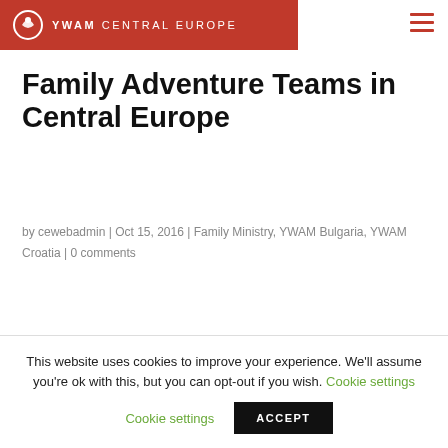YWAM CENTRAL EUROPE
Family Adventure Teams in Central Europe
by cewebadmin | Oct 15, 2016 | Family Ministry, YWAM Bulgaria, YWAM Croatia | 0 comments
This website uses cookies to improve your experience. We'll assume you're ok with this, but you can opt-out if you wish. Cookie settings ACCEPT